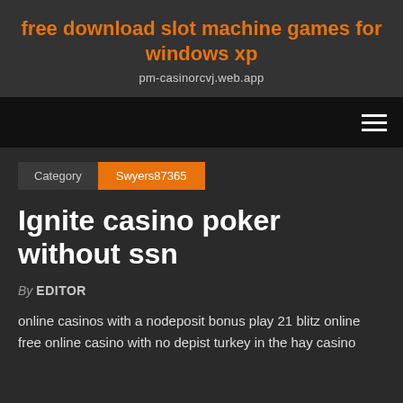free download slot machine games for windows xp
pm-casinorcvj.web.app
Category | Swyers87365
Ignite casino poker without ssn
By EDITOR
online casinos with a nodeposit bonus play 21 blitz online free online casino with no depist turkey in the hay casino